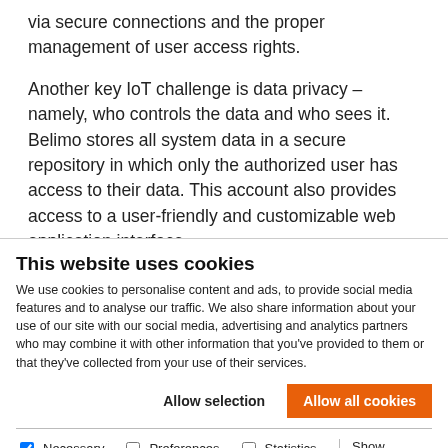via secure connections and the proper management of user access rights.
Another key IoT challenge is data privacy – namely, who controls the data and who sees it. Belimo stores all system data in a secure repository in which only the authorized user has access to their data. This account also provides access to a user-friendly and customizable web application interface.
Privacy Policy
This website uses cookies
We use cookies to personalise content and ads, to provide social media features and to analyse our traffic. We also share information about your use of our site with our social media, advertising and analytics partners who may combine it with other information that you've provided to them or that they've collected from your use of their services.
Allow selection | Allow all cookies
Necessary  Preferences  Statistics  Marketing  Show details